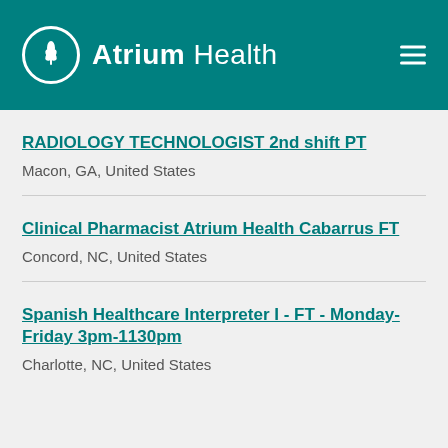Atrium Health
RADIOLOGY TECHNOLOGIST 2nd shift PT
Macon, GA, United States
Clinical Pharmacist Atrium Health Cabarrus FT
Concord, NC, United States
Spanish Healthcare Interpreter I - FT - Monday-Friday 3pm-1130pm
Charlotte, NC, United States